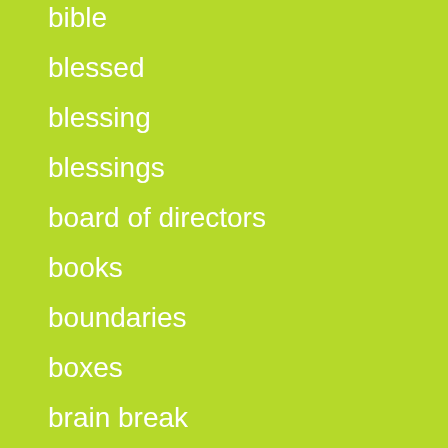bible
blessed
blessing
blessings
board of directors
books
boundaries
boxes
brain break